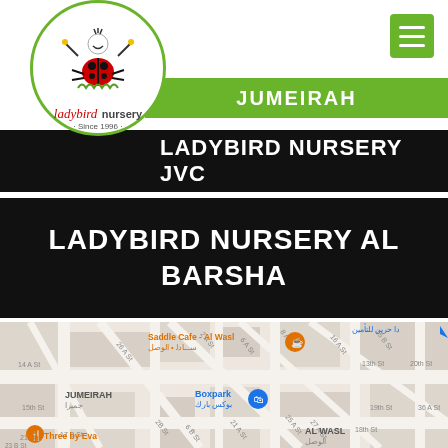[Figure (logo): Ladybird Nursery logo — circular logo with cartoon ladybird character, text 'ladybird nursery · Since 1996 ·']
JUMEIRAH
LADYBIRD NURSERY JVC
LADYBIRD NURSERY AL BARSHA
[Figure (map): Google Maps screenshot showing Jumeirah area in Dubai with streets labeled (14A St, 15th St, 17B St, 21st St, 23B St, 26A St, 2A St, 6A St, 8A St, 16A St, 15B St, 19th St, 36A St, 20th St, 13th St, 25A St, 27A St, 2B St, 6B St, 21A St, 18th St), locations including Saddle Cafe Al Wasl, Boxpark بوكس بارك, Three by Eva, JUMEIRAH جميرا, AL WASL الوصل]